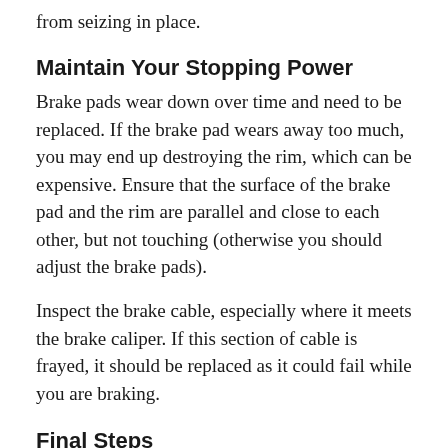from seizing in place.
Maintain Your Stopping Power
Brake pads wear down over time and need to be replaced. If the brake pad wears away too much, you may end up destroying the rim, which can be expensive. Ensure that the surface of the brake pad and the rim are parallel and close to each other, but not touching (otherwise you should adjust the brake pads).
Inspect the brake cable, especially where it meets the brake caliper. If this section of cable is frayed, it should be replaced as it could fail while you are braking.
Final Steps